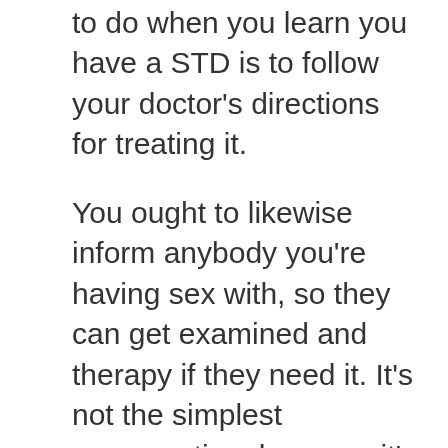The most effective point to do when you learn you have a STD is to follow your doctor's directions for treating it.
You ought to likewise inform anybody you're having sex with, so they can get examined and therapy if they need it. It's not the simplest conversation, however it's a vital one. Here are some tips to help.
Several STDs can be easily treated with medication, so you can just complete your solution and also get on with your life. As well as even though some STDs can not be treated, there are great deals of means to treat your signs and symptoms and also avoid you from providing your Sexually Transmitted Disease to any individual you have sex with.